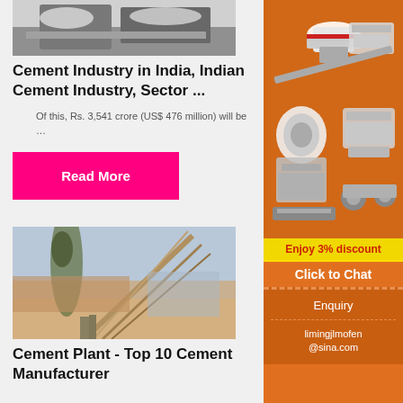[Figure (photo): Black and white photo of heavy machinery/construction equipment in snowy or dusty environment]
Cement Industry in India, Indian Cement Industry, Sector ...
Of this, Rs. 3,541 crore (US$ 476 million) will be …
Read More
[Figure (photo): Industrial conveyor belt with dust/material being transported at a cement plant, blue sky background]
Cement Plant - Top 10 Cement Manufacturer
[Figure (illustration): Orange advertisement banner with machinery images, Enjoy 3% discount, Click to Chat, Enquiry, limingjlmofen@sina.com]